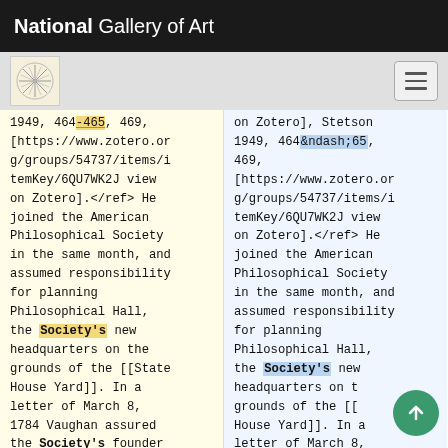National Gallery of Art
1949, 464-465, 469, [https://www.zotero.org/groups/54737/items/itemKey/6QU7WK2J view on Zotero].</ref> He joined the American Philosophical Society in the same month, and assumed responsibility for planning Philosophical Hall, the Society's new headquarters on the grounds of the [[State House Yard]]. In a letter of March 8, 1784 Vaughan assured the Society's founder
on Zotero], Stetson 1949, 464&ndash;65, 469, [https://www.zotero.org/groups/54737/items/itemKey/6QU7WK2J view on Zotero].</ref> He joined the American Philosophical Society in the same month, and assumed responsibility for planning Philosophical Hall, the Society's new headquarters on the grounds of the [[State House Yard]]. In a letter of March 8,